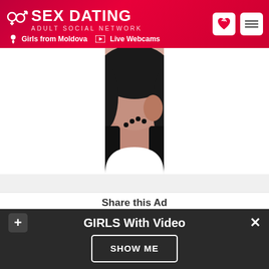SEX DATING ADULT SOCIAL NETWORK | Girls from Moldova | Live Webcams
[Figure (photo): Profile photo of a woman with dark hair, wearing a dark jacket and bead necklace, posed against a red circular background]
Share this Ad
[Figure (infographic): Four social share buttons: Facebook (f), Twitter (t), Google+ (g+), LinkedIn (in)]
GIRLS With Video
SHOW ME